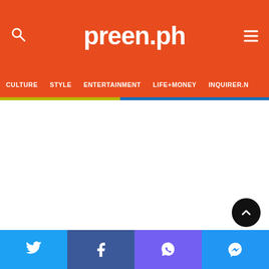preen.ph
CULTURE  STYLE  ENTERTAINMENT  LIFE+MONEY  INQUIRER.N
[Figure (screenshot): White content area, empty main page body]
Twitter | Facebook | Viber | Messenger